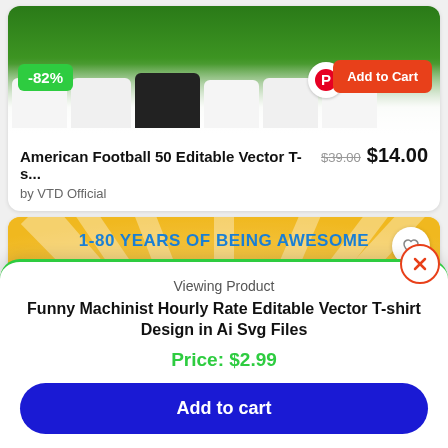[Figure (screenshot): American Football 50 Editable Vector T-shirt design product card showing collage of white t-shirts with football graphics on green background, with -82% discount badge, Pinterest icon, and Add to Cart button]
American Football 50 Editable Vector T-s...  $39.00  $14.00
by VTD Official
[Figure (screenshot): 1-80 Years of Being Awesome Vintage Birthday design product card with colorful sunburst background and large multicolored 'Birthday' text]
Viewing Product
Funny Machinist Hourly Rate Editable Vector T-shirt Design in Ai Svg Files
Price: $2.99
Add to cart